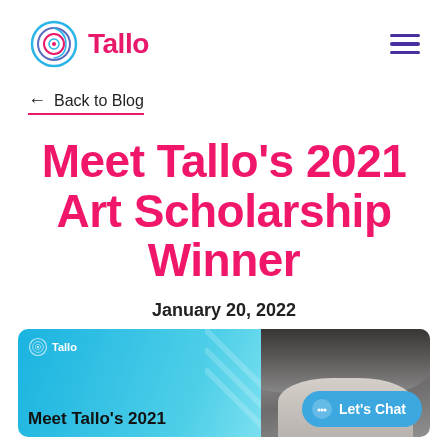Tallo
← Back to Blog
Meet Tallo's 2021 Art Scholarship Winner
January 20, 2022
[Figure (photo): Hero banner image with Tallo logo on blue background showing 'Meet Tallo's 2021' text on left, and a black-and-white photo of a person on the right. A 'Let's Chat' button overlay is visible in bottom right.]